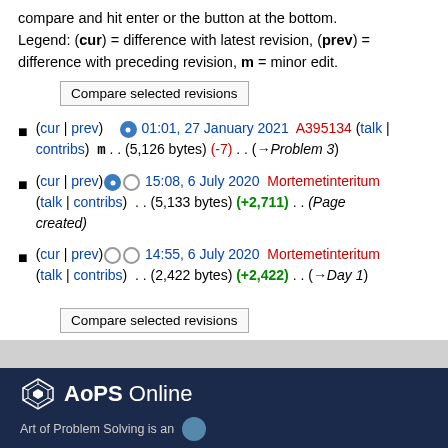compare and hit enter or the button at the bottom. Legend: (cur) = difference with latest revision, (prev) = difference with preceding revision, m = minor edit.
(cur | prev)   01:01, 27 January 2021  A395134 (talk | contribs)  m . . (5,126 bytes) (-7) . . (→Problem 3)
(cur | prev)  15:08, 6 July 2020  Mortemetinteritum (talk | contribs)  . . (5,133 bytes) (+2,711) . . (Page created)
(cur | prev)  14:55, 6 July 2020  Mortemetinteritum (talk | contribs)  . . (2,422 bytes) (+2,422) . . (→Day 1)
Compare selected revisions (button)
AoPS Online — Art of Problem Solving is an